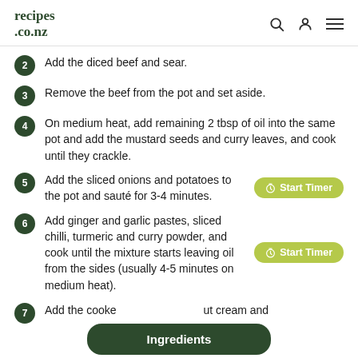recipes .co.nz
2 Add the diced beef and sear.
3 Remove the beef from the pot and set aside.
4 On medium heat, add remaining 2 tbsp of oil into the same pot and add the mustard seeds and curry leaves, and cook until they crackle.
5 Add the sliced onions and potatoes to the pot and sauté for 3-4 minutes.
6 Add ginger and garlic pastes, sliced chilli, turmeric and curry powder, and cook until the mixture starts leaving oil from the sides (usually 4-5 minutes on medium heat).
7 Add the cooked … ut cream and